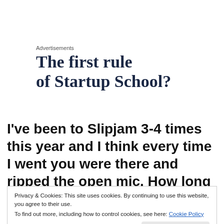Advertisements
The first rule of Startup School?
I've been to Slipjam 3-4 times this year and I think every time I went you were there and ripped the open mic. How long have you been going, have you been a
Privacy & Cookies: This site uses cookies. By continuing to use this website, you agree to their use.
To find out more, including how to control cookies, see here: Cookie Policy
Close and accept
brush up on my skills and I think the commitment to that